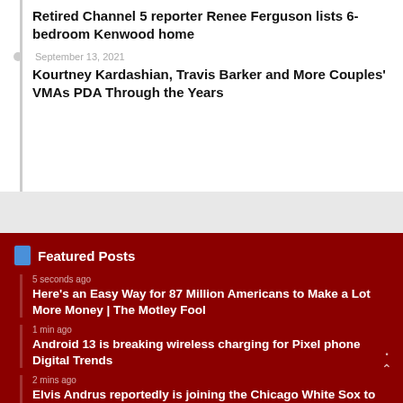Retired Channel 5 reporter Renee Ferguson lists 6-bedroom Kenwood home
September 13, 2021
Kourtney Kardashian, Travis Barker and More Couples' VMAs PDA Through the Years
Featured Posts
5 seconds ago
Here's an Easy Way for 87 Million Americans to Make a Lot More Money | The Motley Fool
1 min ago
Android 13 is breaking wireless charging for Pixel phone Digital Trends
2 mins ago
Elvis Andrus reportedly is joining the Chicago White Sox to